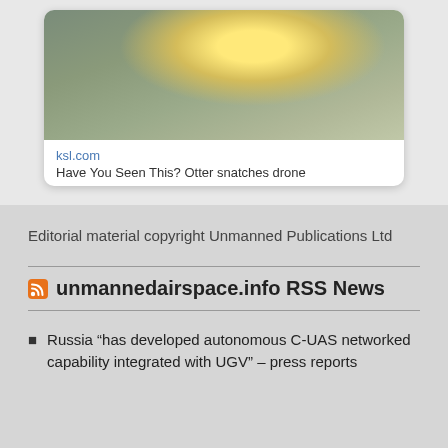[Figure (photo): Aerial photo of an object (possibly a drone or bird) against a muted olive-green/gray background, with a bright glowing light near it]
ksl.com
Have You Seen This? Otter snatches drone
Editorial material copyright Unmanned Publications Ltd
unmannedairspace.info RSS News
Russia “has developed autonomous C-UAS networked capability integrated with UGV” – press reports